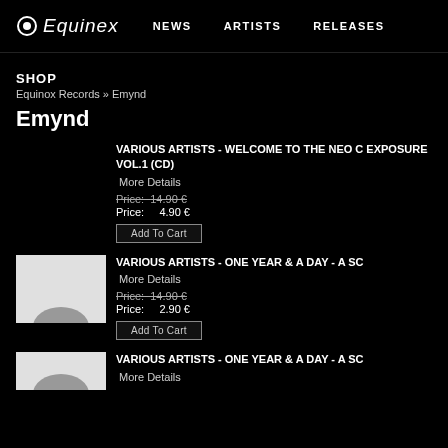Equinox | NEWS  ARTISTS  RELEASES
SHOP
Equinox Records » Emynd
Emynd
VARIOUS ARTISTS - WELCOME TO THE NEO C EXPOSURE VOL.1 (CD)
More Details
Price: 14.90 €
Price:     4.90 €
Add To Cart
VARIOUS ARTISTS - ONE YEAR & A DAY - A SC
More Details
Price: 14.90 €
Price:     2.90 €
Add To Cart
VARIOUS ARTISTS - ONE YEAR & A DAY - A SC
More Details